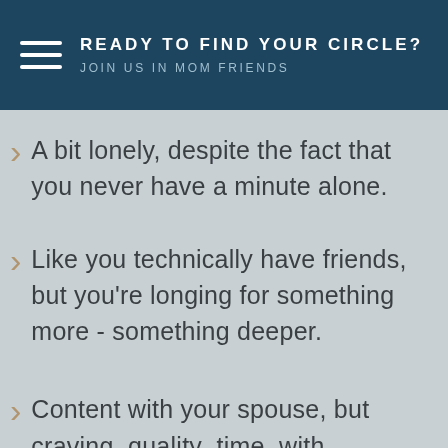READY TO FIND YOUR CIRCLE? JOIN US IN MOM FRIENDS
A bit lonely, despite the fact that you never have a minute alone.
Like you technically have friends, but you're longing for something more - something deeper.
Content with your spouse, but craving quality time with